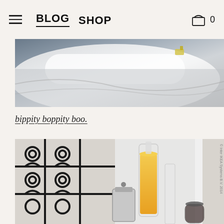BLOG  SHOP  [cart icon] 0
[Figure (photo): Close-up photo of white fabric/linens with gray bedding, partially cropped at top of page]
bippity boppity boo.
[Figure (photo): Photo of a Parisian-style breakfast scene with ornate black ironwork railing, a tall glass carafe filled with orange juice, a silver coffee press, glasses, and a small jar of jam on a windowsill]